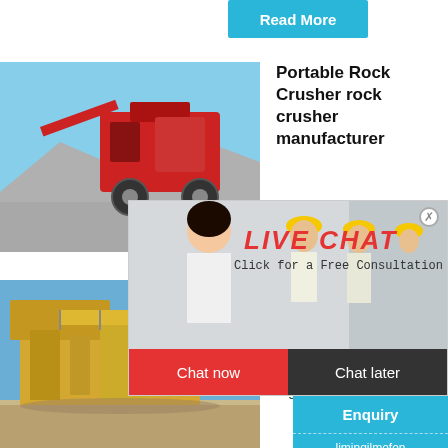Read More
[Figure (photo): Portable rock crusher machine at a quarry site with red machinery and crushed stone]
Portable Rock Crusher rock crusher manufacturer
[Figure (photo): Live Chat popup overlay showing workers in yellow hard hats and a smiling woman in white shirt]
LIVE CHAT
Click for a Free Consultation
Chat now
Chat later
hour online
[Figure (photo): Rock crusher machine close-up on blue background, right side panel]
Click me to chat>>
Enquiry
limingjlmofen
[Figure (photo): Large yellow stone crushing plant machinery at mine site against blue sky]
Stone C Stone C Manufa
High Effe